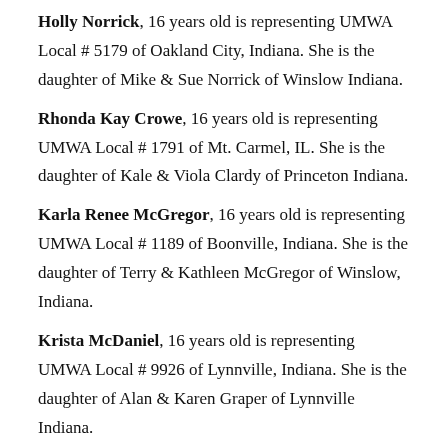Holly Norrick, 16 years old is representing UMWA Local # 5179 of Oakland City, Indiana. She is the daughter of Mike & Sue Norrick of Winslow Indiana.
Rhonda Kay Crowe, 16 years old is representing UMWA Local # 1791 of Mt. Carmel, IL. She is the daughter of Kale & Viola Clardy of Princeton Indiana.
Karla Renee McGregor, 16 years old is representing UMWA Local # 1189 of Boonville, Indiana. She is the daughter of Terry & Kathleen McGregor of Winslow, Indiana.
Krista McDaniel, 16 years old is representing UMWA Local # 9926 of Lynnville, Indiana. She is the daughter of Alan & Karen Graper of Lynnville Indiana.
Kris Aldridge, 17 years old is representing UMWA Local # 9926 of Lynnville, Indiana. She is the daughter of Ronnie & Diana Weisheit of Lynnville, Indiana.